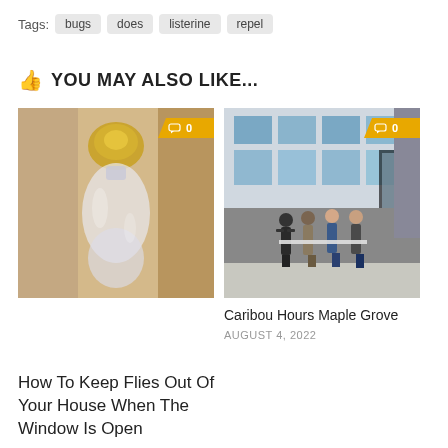Tags: bugs  does  listerine  repel
👍 YOU MAY ALSO LIKE...
[Figure (photo): A plastic bag of water tied to a door handle/knob, a home remedy for repelling flies.]
[Figure (photo): Several people standing outside a building with large windows, appearing to hold a banner or ribbon at what looks like a ribbon-cutting ceremony. A comment badge showing 0 is visible.]
Caribou Hours Maple Grove
AUGUST 4, 2022
How To Keep Flies Out Of Your House When The Window Is Open